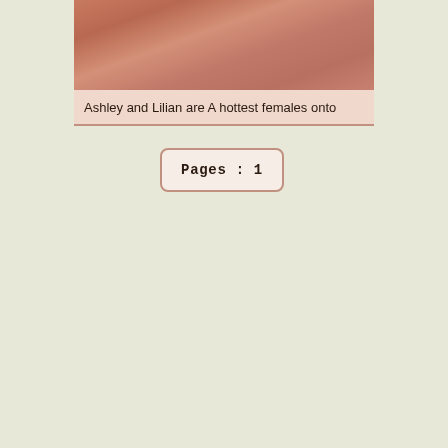[Figure (photo): Photo of two women]
Ashley and Lilian are A hottest females onto
Pages : 1